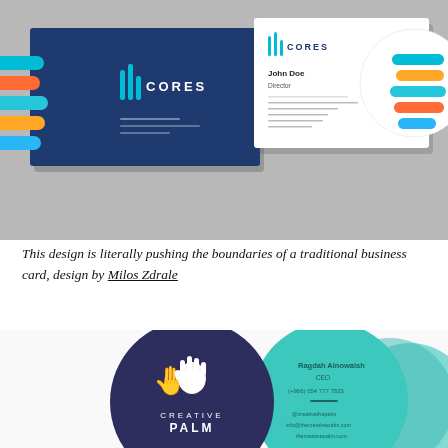[Figure (photo): Photo of two business cards for 'CORES' brand. Left card is dark navy blue with colorful horizontal stripe decorations (teal, orange, blue) extending beyond the card edge in an oval shape, white logo and text. Right card is white with the same CORES logo, contact details for 'John Doe, Director', and a circular decoration of horizontal colored stripes on the right. Both cards displayed on a gray surface.]
This design is literally pushing the boundaries of a traditional business card, design by Milos Zdrale
[Figure (photo): Photo of round circular business cards for 'Creative Palm'. Left circle is dark navy/purple with a white hand print logo and 'CREATIVE PALM' text in white. Right circle is teal/turquoise with contact info: 'Ragdah Alnowaish, CEO, (+966) 054 777 7825, @creativethepalm, info@thecreativepalm.com, thecreativepalm.com'. Additional teal circles partially visible behind. Cards displayed on white background.]